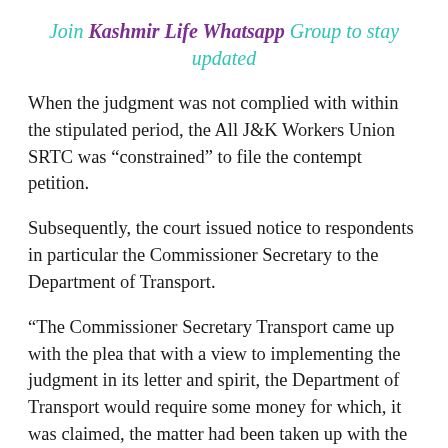Join Kashmir Life Whatsapp Group to stay updated
When the judgment was not complied with within the stipulated period, the All J&K Workers Union SRTC was “constrained” to file the contempt petition.
Subsequently, the court issued notice to respondents in particular the Commissioner Secretary to the Department of Transport.
“The Commissioner Secretary Transport came up with the plea that with a view to implementing the judgment in its letter and spirit, the Department of Transport would require some money for which, it was claimed, the matter had been taken up with the Finance